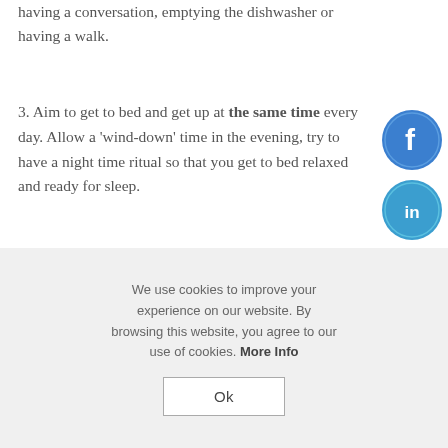you are doing in that moment, whether having a conversation, emptying the dishwasher or having a walk.
3. Aim to get to bed and get up at the same time every day. Allow a 'wind-down' time in the evening, try to have a night time ritual so that you get to bed relaxed and ready for sleep.
[Figure (other): Facebook social share button (blue circle with white 'f')]
[Figure (other): LinkedIn social share button (blue circle with white 'in')]
We use cookies to improve your experience on our website. By browsing this website, you agree to our use of cookies. More Info